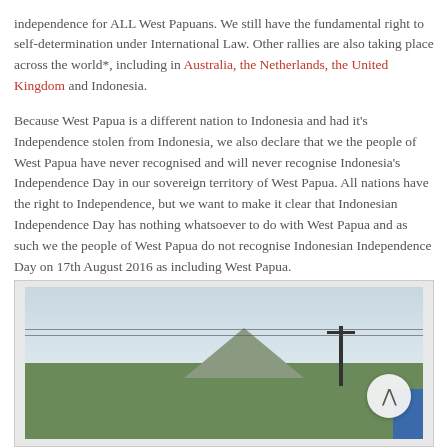independence for ALL West Papuans. We still have the fundamental right to self-determination under International Law. Other rallies are also taking place across the world*, including in Australia, the Netherlands, the United Kingdom and Indonesia.
Because West Papua is a different nation to Indonesia and had it's Independence stolen from Indonesia, we also declare that we the people of West Papua have never recognised and will never recognise Indonesia's Independence Day in our sovereign territory of West Papua. All nations have the right to Independence, but we want to make it clear that Indonesian Independence Day has nothing whatsoever to do with West Papua and as such we the people of West Papua do not recognise Indonesian Independence Day on 17th August 2016 as including West Papua.
[Figure (photo): Outdoor scene showing trees, mountains in the background, a utility pole with wires, a blue structure on the right, and cloudy sky.]